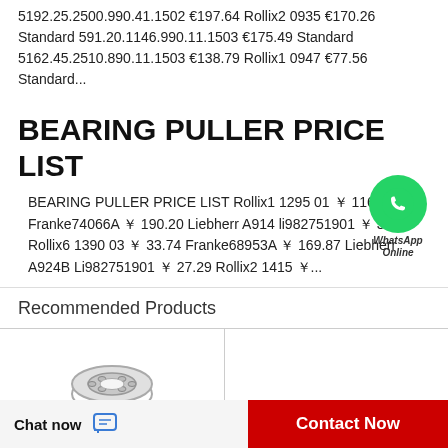5192.25.2500.990.41.1502 €197.64 Rollix2 0935 €170.26 Standard 591.20.1146.990.11.1503 €175.49 Standard 5162.45.2510.890.11.1503 €138.79 Rollix1 0947 €77.56 Standard...
BEARING PULLER PRICE LIST
BEARING PULLER PRICE LIST Rollix1 1295 01 ￥ 116.75 Franke74066A ￥ 190.20 Liebherr A914 li982751901 ￥ 36.79 Rollix6 1390 03 ￥ 33.74 Franke68953A ￥ 169.87 Liebherr A924B Li982751901 ￥ 27.29 Rollix2 1415 ￥...
Recommended Products
[Figure (photo): Bearing product photo showing a metal bearing ring]
[Figure (photo): Second bearing product placeholder]
[Figure (logo): WhatsApp contact bubble with green circle and phone icon, labeled WhatsApp Online]
Chat now
Contact Now